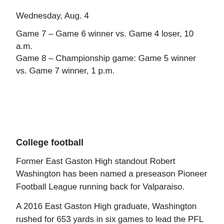Wednesday, Aug. 4
Game 7 – Game 6 winner vs. Game 4 loser, 10 a.m.
Game 8 – Championship game: Game 5 winner vs. Game 7 winner, 1 p.m.
College football
Former East Gaston High standout Robert Washington has been named a preseason Pioneer Football League running back for Valparaiso.
A 2016 East Gaston High graduate, Washington rushed for 653 yards in six games to lead the PFL in rushing in the spring. Washington was named PFL offensive